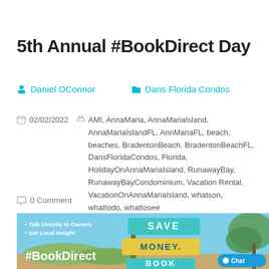5th Annual #BookDirect Day
Daniel OConnor   Dans Florida Condos
02/02/2022   AMI, AnnaMaria, AnnaMariaIsland, AnnaMariaIslandFL, AnnMariaFL, beach, beaches, BradentonBeach, BradentonBeachFL, DansFloridaCondos, Florida, HolidayOnAnnaMariaIsland, RunawayBay, RunawayBayCondominium, Vacation Rental, VacationOnAnnaMariaIsland, whatson, whattodo, whattosee   0 Comment
[Figure (photo): Promotional image for #BookDirect Day featuring a wooden signpost with teal and yellow signs reading SAVE MONEY. BOOK, with bullet points 'Talk Directly to Owners' and 'Get Local Insight', and the hashtag #BookDirect in the bottom left. A chat button is visible in the bottom right.]